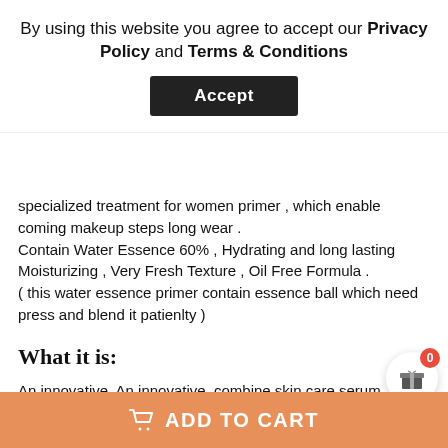By using this website you agree to accept our Privacy Policy and Terms & Conditions
Accept
specialized treatment for women primer , which enable coming makeup steps long wear .
Contain Water Essence 60% , Hydrating and long lasting Moisturizing , Very Fresh Texture , Oil Free Formula .
( this water essence primer contain essence ball which need press and blend it patienlty )
What it is:
An innovative, An innovative, combine skin care serum makeup primer color corrects, brightens, and smooths skin .
fix makeup long wear
Step Name
What it does: